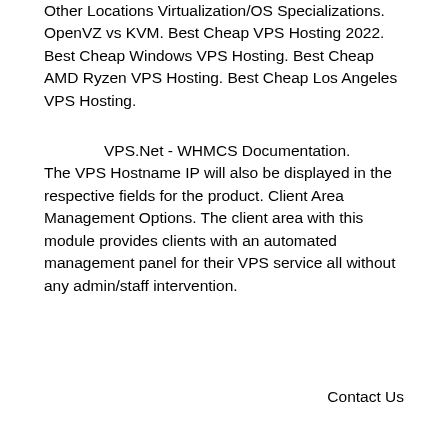Other Locations Virtualization/OS Specializations. OpenVZ vs KVM. Best Cheap VPS Hosting 2022. Best Cheap Windows VPS Hosting. Best Cheap AMD Ryzen VPS Hosting. Best Cheap Los Angeles VPS Hosting.
VPS.Net - WHMCS Documentation. The VPS Hostname IP will also be displayed in the respective fields for the product. Client Area Management Options. The client area with this module provides clients with an automated management panel for their VPS service all without any admin/staff intervention.
Contact Us